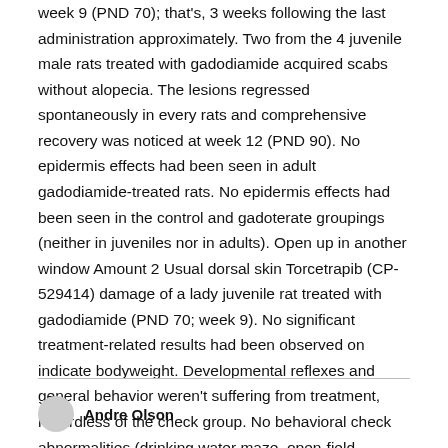week 9 (PND 70); that's, 3 weeks following the last administration approximately. Two from the 4 juvenile male rats treated with gadodiamide acquired scabs without alopecia. The lesions regressed spontaneously in every rats and comprehensive recovery was noticed at week 12 (PND 90). No epidermis effects had been seen in adult gadodiamide-treated rats. No epidermis effects had been seen in the control and gadoterate groupings (neither in juveniles nor in adults). Open up in another window Amount 2 Usual dorsal skin Torcetrapib (CP-529414) damage of a lady juvenile rat treated with gadodiamide (PND 70; week 9). No significant treatment-related results had been observed on indicate bodyweight. Developmental reflexes and general behavior weren't suffering from treatment, regardless of the check group. No behavioral check abnormalities (drinking water maze, open-field, concealed pellet lab tests) had been.
Andre Olson